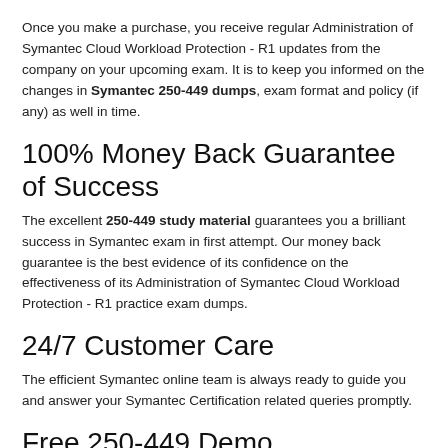Once you make a purchase, you receive regular Administration of Symantec Cloud Workload Protection - R1 updates from the company on your upcoming exam. It is to keep you informed on the changes in Symantec 250-449 dumps, exam format and policy (if any) as well in time.
100% Money Back Guarantee of Success
The excellent 250-449 study material guarantees you a brilliant success in Symantec exam in first attempt. Our money back guarantee is the best evidence of its confidence on the effectiveness of its Administration of Symantec Cloud Workload Protection - R1 practice exam dumps.
24/7 Customer Care
The efficient Symantec online team is always ready to guide you and answer your Symantec Certification related queries promptly.
Free 250-449 Demo